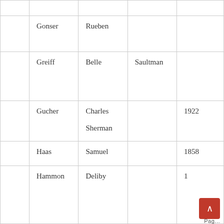|  |  |  |  |  |
| --- | --- | --- | --- | --- |
|  |  |  |  |  |
|  | Gonser | Rueben |  |  |
|  | Greiff | Belle | Saultman |  |
|  | Gucher | Charles Sherman |  | 1922 |
|  | Haas | Samuel |  | 1858 |
|  | Hammon | Deliby |  | 1... |